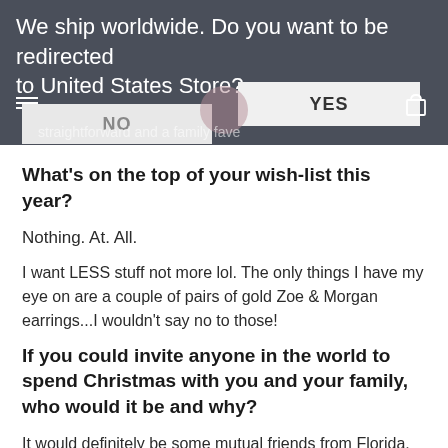[Figure (screenshot): Website popup overlay asking to redirect to United States Store, with YES and NO buttons on a dark header background.]
What's on the top of your wish-list this year?
Nothing. At. All.
I want LESS stuff not more lol. The only things I have my eye on are a couple of pairs of gold Zoe & Morgan earrings...I wouldn't say no to those!
If you could invite anyone in the world to spend Christmas with you and your family, who would it be and why?
It would definitely be some mutual friends from Florida. People that Dave and I would love to show around New